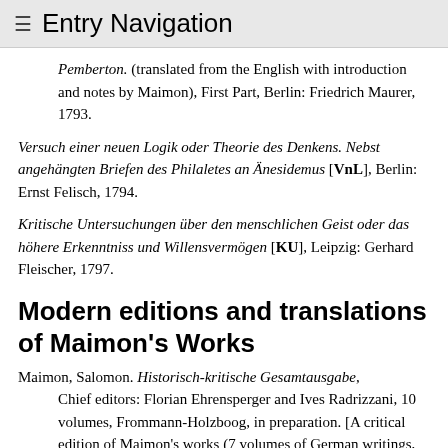≡  Entry Navigation
Pemberton. (translated from the English with introduction and notes by Maimon), First Part, Berlin: Friedrich Maurer, 1793.
Versuch einer neuen Logik oder Theorie des Denkens. Nebst angehängten Briefen des Philaletes an Änesidemus [VnL], Berlin: Ernst Felisch, 1794.
Kritische Untersuchungen über den menschlichen Geist oder das höhere Erkenntniss und Willensvermögen [KU], Leipzig: Gerhard Fleischer, 1797.
Modern editions and translations of Maimon's Works
Maimon, Salomon. Historisch-kritische Gesamtausgabe, Chief editors: Florian Ehrensperger and Ives Radrizzani, 10 volumes, Frommann-Holzboog, in preparation. [A critical edition of Maimon's works (7 volumes of German writings, and 3 volumes of the Hebrew writings)]
Gesammelte Werke [GW], edited by: Valerio Verra, 7...